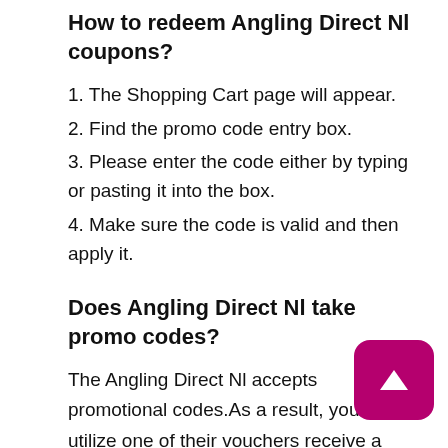How to redeem Angling Direct Nl coupons?
1. The Shopping Cart page will appear.
2. Find the promo code entry box.
3. Please enter the code either by typing or pasting it into the box.
4. Make sure the code is valid and then apply it.
Does Angling Direct Nl take promo codes?
The Angling Direct Nl accepts promotional codes.As a result, you can utilize one of their vouchers receive a discount on your entire purchase w you use one of their vouchers.This is very helpful if you are looking for tips to save money shopping on